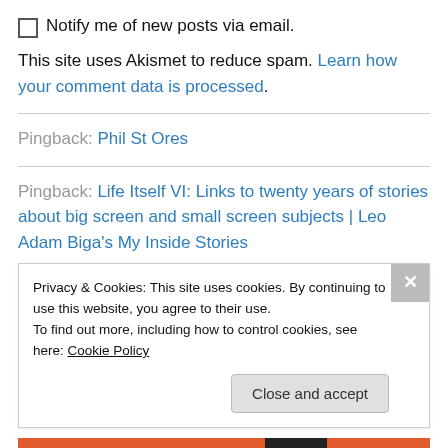Notify me of new posts via email.
This site uses Akismet to reduce spam. Learn how your comment data is processed.
Pingback: Phil St Ores
Pingback: Life Itself VI: Links to twenty years of stories about big screen and small screen subjects | Leo Adam Biga's My Inside Stories
Privacy & Cookies: This site uses cookies. By continuing to use this website, you agree to their use. To find out more, including how to control cookies, see here: Cookie Policy
Close and accept